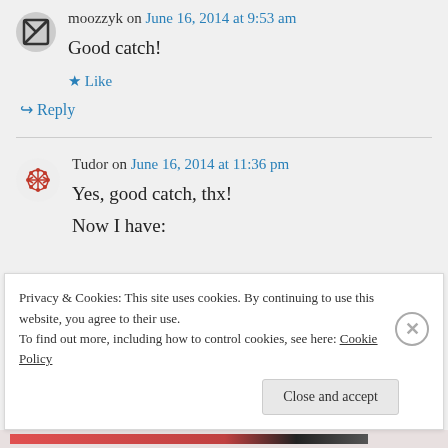moozzyk on June 16, 2014 at 9:53 am
Good catch!
★ Like
↪ Reply
Tudor on June 16, 2014 at 11:36 pm
Yes, good catch, thx!
Now I have:
Privacy & Cookies: This site uses cookies. By continuing to use this website, you agree to their use. To find out more, including how to control cookies, see here: Cookie Policy
Close and accept